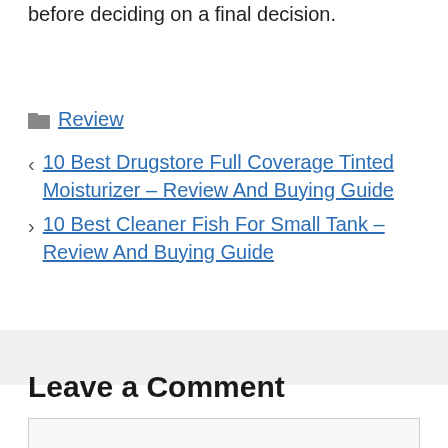before deciding on a final decision.
Review
10 Best Drugstore Full Coverage Tinted Moisturizer – Review And Buying Guide
10 Best Cleaner Fish For Small Tank – Review And Buying Guide
Leave a Comment